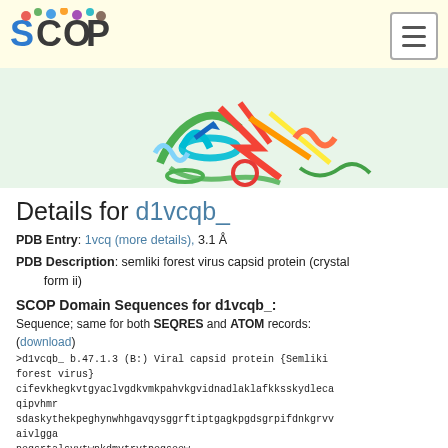SCOP logo and navigation
[Figure (photo): Protein structure ribbon diagram showing colorful alpha helices and beta sheets of semliki forest virus capsid protein]
Details for d1vcqb_
PDB Entry: 1vcq (more details), 3.1 Å
PDB Description: semliki forest virus capsid protein (crystal form ii)
SCOP Domain Sequences for d1vcqb_:
Sequence; same for both SEQRES and ATOM records:
(download)
>d1vcqb_ b.47.1.3 (B:) Viral capsid protein {Semliki forest virus}
cifevkhegkvtgyaclvgdkvmkpahvkgvidnadlaklafkksskydlecaqipvhmr
sdaskythekpeghynwhhgavqysggrftiptgagkpgdsgrpifdnkgrvvaivlgga
negsrtalsvvtwnkdmvtrvtpegseew
SCOP Domain Coordinates for d1vcqb_: